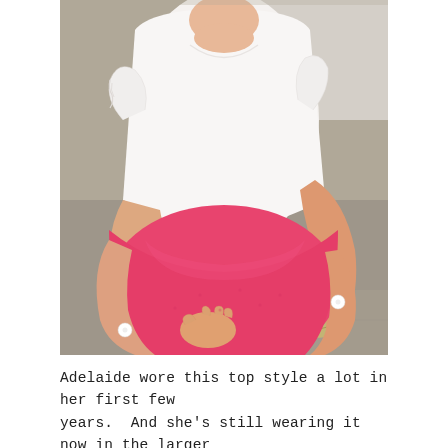[Figure (photo): A toddler girl sitting cross-legged on the ground, wearing a white short-sleeve top with ruffled/lace trim and bright pink bloomers/pants with white buttons at the ankles. The photo is taken from the neck down. Background shows a sidewalk/pavement surface.]
Adelaide wore this top style a lot in her first few years.  And she's still wearing it now in the larger